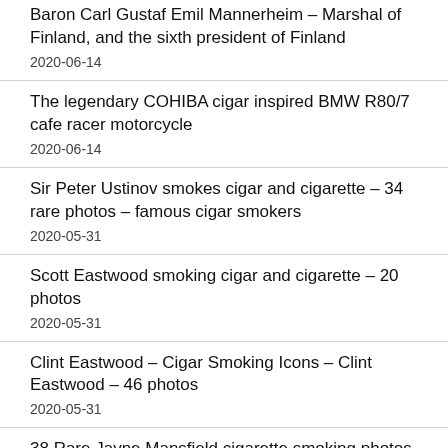Baron Carl Gustaf Emil Mannerheim – Marshal of Finland, and the sixth president of Finland
2020-06-14
The legendary COHIBA cigar inspired BMW R80/7 cafe racer motorcycle
2020-06-14
Sir Peter Ustinov smokes cigar and cigarette – 34 rare photos – famous cigar smokers
2020-05-31
Scott Eastwood smoking cigar and cigarette – 20 photos
2020-05-31
Clint Eastwood – Cigar Smoking Icons – Clint Eastwood – 46 photos
2020-05-31
38 Rare Jayne Mansfield cigarette smoking photos
2020-05-31